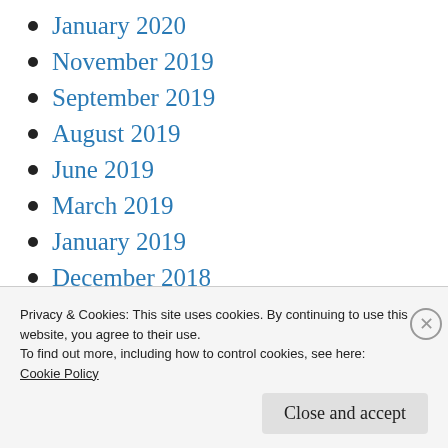January 2020
November 2019
September 2019
August 2019
June 2019
March 2019
January 2019
December 2018
November 2018
August 2018
July 2018
Privacy & Cookies: This site uses cookies. By continuing to use this website, you agree to their use.
To find out more, including how to control cookies, see here:
Cookie Policy
Close and accept